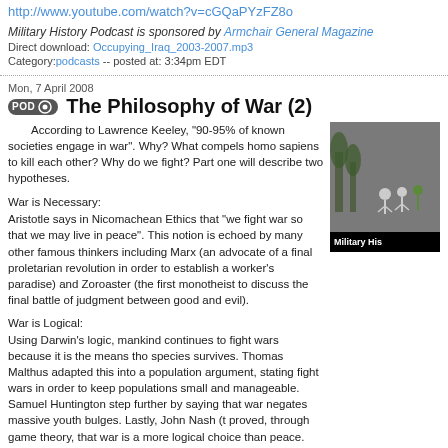http://www.youtube.com/watch?v=cGQaPYzFZ8o
Military History Podcast is sponsored by Armchair General Magazine
Direct download: Occupying_Iraq_2003-2007.mp3
Category:podcasts -- posted at: 3:34pm EDT
Mon, 7 April 2008
The Philosophy of War (2)
According to Lawrence Keeley, "90-95% of known societies engage in war". Why? What compels homo sapiens to kill each other? Why do we fight? Part one will describe two hypotheses.
War is Necessary:
Aristotle says in Nicomachean Ethics that "we fight war so that we may live in peace". This notion is echoed by many other famous thinkers including Marx (an advocate of a final proletarian revolution in order to establish a worker's paradise) and Zoroaster (the first monotheist to discuss the final battle of judgment between good and evil).
War is Logical:
Using Darwin's logic, mankind continues to fight wars because it is the means tho species survives. Thomas Malthus adapted this into a population argument, stating fight wars in order to keep populations small and manageable. Samuel Huntington step further by saying that war negates massive youth bulges. Lastly, John Nash (t proved, through game theory, that war is a more logical choice than peace.
War is Accidental:
AJP Taylor argued that all wars are unintended and unhappy escalations of smalle Warmongering is neither inherent nor unavoidable. Taylor's ideas link closely to the of Tolstoy and Gandhi.
For more information, read:
Nicomachean Ethics by Aristotle
Communist Manifesto by Marx